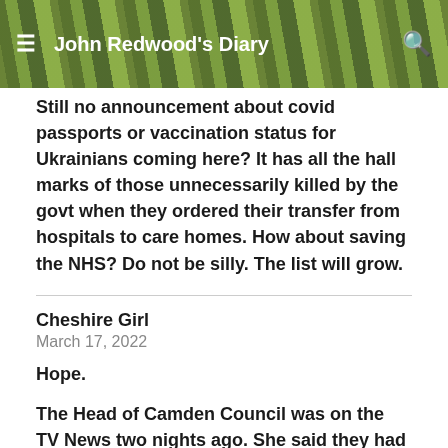John Redwood's Diary
Still no announcement about covid passports or vaccination status for Ukrainians coming here? It has all the hall marks of those unnecessarily killed by the govt when they ordered their transfer from hospitals to care homes. How about saving the NHS? Do not be silly. The list will grow.
Cheshire Girl
March 17, 2022
Hope.
The Head of Camden Council was on the TV News two nights ago. She said they had 60,000 on the Council House waiting list already. What hope is there for those poor people, now we have thousands of refugees/migrants to house? No one